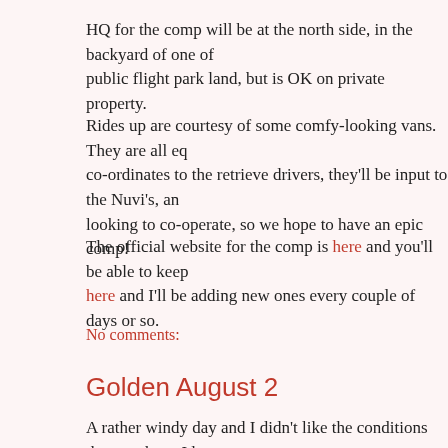HQ for the comp will be at the north side, in the backyard of one of public flight park land, but is OK on private property.
Rides up are courtesy of some comfy-looking vans. They are all eq co-ordinates to the retrieve drivers, they'll be input to the Nuvi's, an looking to co-operate, so we hope to have an epic comp!
The official website for the comp is here and you'll be able to keep here and I'll be adding new ones every couple of days or so.
No comments:
Golden August 2
A rather windy day and I didn't like the conditions that much, so I la side of the road, trying to hitchhike. Since this was obviously not go return to GEAR, pick up a vehicle, and return for the rest of the peo
After getting rid of the deadweight :) I stuck my thumb out and lo-an Vincene Muller's brother! Back to GEAR and picked up a truck and